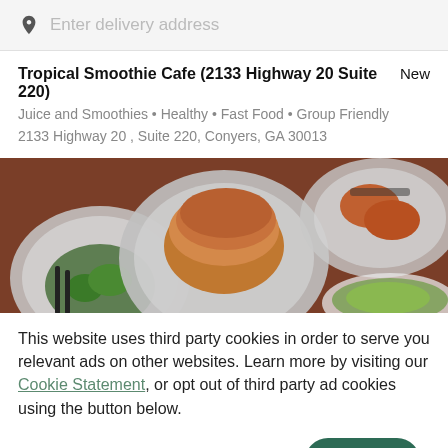Enter delivery address
Tropical Smoothie Cafe (2133 Highway 20 Suite 220)  New
Juice and Smoothies • Healthy • Fast Food • Group Friendly
2133 Highway 20 , Suite 220, Conyers, GA 30013
[Figure (photo): Overhead view of food dishes on plates on a wooden table, including what appears to be a burger/sandwich, salads, and other items.]
This website uses third party cookies in order to serve you relevant ads on other websites. Learn more by visiting our Cookie Statement, or opt out of third party ad cookies using the button below.
OPT OUT
GOT IT